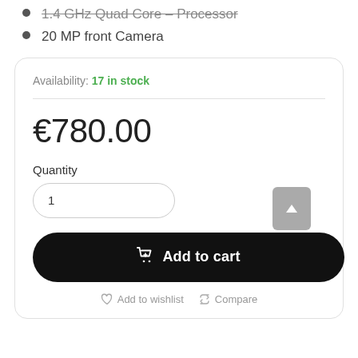1.4 GHz Quad Core – Processor
20 MP front Camera
Availability: 17 in stock
€780.00
Quantity
1
Add to cart
Add to wishlist  Compare